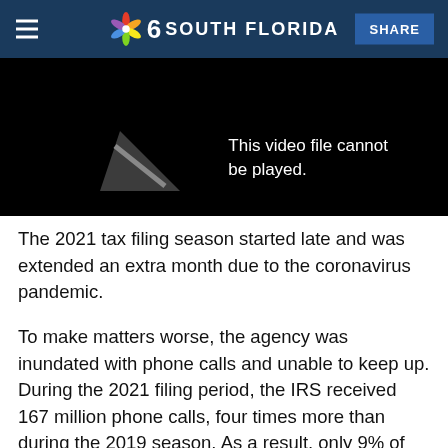NBC 6 South Florida | SHARE
[Figure (screenshot): Black video player with error message: 'This video file cannot be played.' with a broken video icon on the left.]
The 2021 tax filing season started late and was extended an extra month due to the coronavirus pandemic.
To make matters worse, the agency was inundated with phone calls and unable to keep up. During the 2021 filing period, the IRS received 167 million phone calls, four times more than during the 2019 season. As a result, only 9% of calls were answered by a live customer service representative.
The popular "1040" line, the most frequently dialed IRS toll-